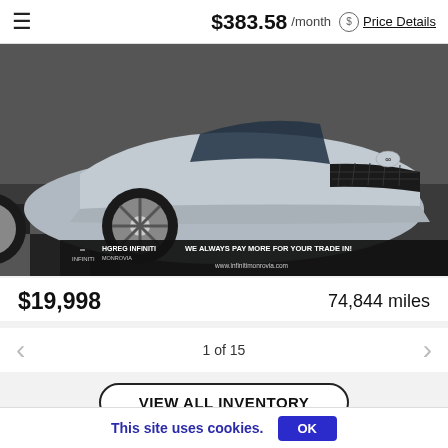≡  $383.58 /month  $ Price Details
[Figure (photo): Front three-quarter view of a silver Infiniti QX30 SUV in a showroom with checkered floor. The car is parked near a banner that reads 'HGREG INFINITI MONROVIA – WE ALWAYS PAY MORE FOR YOUR TRADE IN! www.infinitimonrovia.com']
$19,998
74,844 miles
1 of 15
VIEW ALL INVENTORY
This site uses cookies.  OK